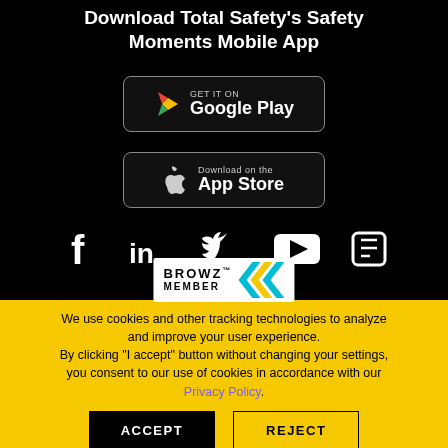Download Total Safety's Safety Moments Mobile App
[Figure (logo): Google Play store badge with Play triangle icon, text 'GET IT ON Google Play']
[Figure (logo): Apple App Store badge with Apple logo, text 'Download on the App Store']
[Figure (infographic): Social media icons: Facebook, LinkedIn, Twitter, YouTube, and another app icon — all white on black background]
[Figure (logo): BROWZ MEMBER logo with yellow and teal chevron icon]
We use cookies and other tracking technologies to analyze and improve your user experience. By clicking "I accept" button without changing your settings, you consent to our use of cookies in accordance with our Privacy Policy.